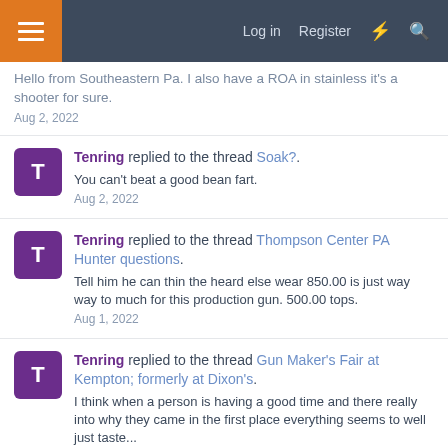Log in  Register
Hello from Southeastern Pa. I also have a ROA in stainless it's a shooter for sure.
Aug 2, 2022
Tenring replied to the thread Soak?.
You can't beat a good bean fart.
Aug 2, 2022
Tenring replied to the thread Thompson Center PA Hunter questions.
Tell him he can thin the heard else wear 850.00 is just way way to much for this production gun. 500.00 tops.
Aug 1, 2022
Tenring replied to the thread Gun Maker's Fair at Kempton; formerly at Dixon's.
I think when a person is having a good time and there really into why they came in the first place everything seems to well just taste...